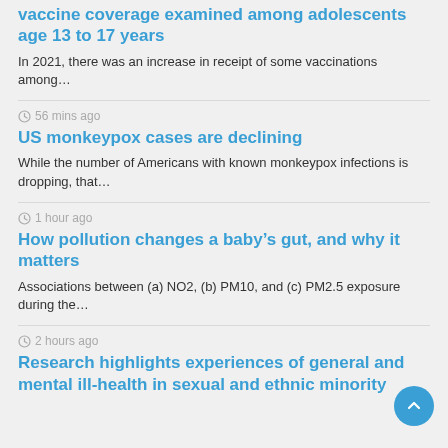vaccine coverage examined among adolescents age 13 to 17 years
In 2021, there was an increase in receipt of some vaccinations among…
56 mins ago
US monkeypox cases are declining
While the number of Americans with known monkeypox infections is dropping, that…
1 hour ago
How pollution changes a baby's gut, and why it matters
Associations between (a) NO2, (b) PM10, and (c) PM2.5 exposure during the…
2 hours ago
Research highlights experiences of general and mental ill-health in sexual and ethnic minority